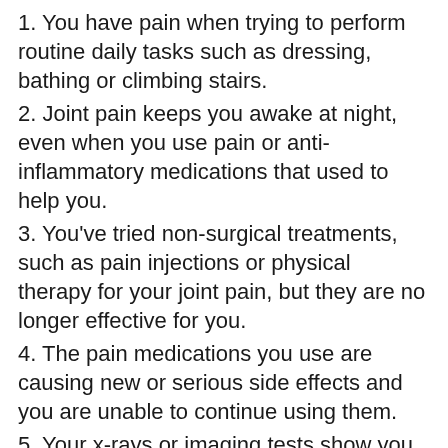1. You have pain when trying to perform routine daily tasks such as dressing, bathing or climbing stairs.
2. Joint pain keeps you awake at night, even when you use pain or anti-inflammatory medications that used to help you.
3. You've tried non-surgical treatments, such as pain injections or physical therapy for your joint pain, but they are no longer effective for you.
4. The pain medications you use are causing new or serious side effects and you are unable to continue using them.
5. Your x-rays or imaging tests show you have significant joint damage and your doctor recommends a total joint